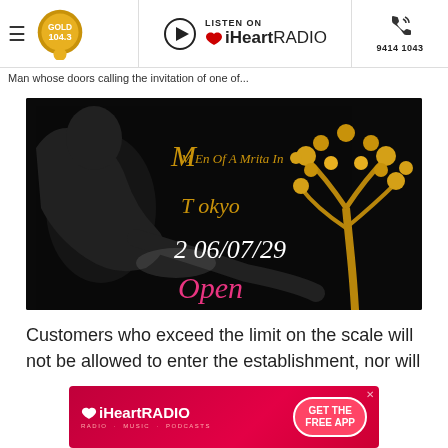Gold 104.3 | LISTEN ON iHeartRADIO | 9414 1043
Man whose doors calling the invitation of one of...
[Figure (photo): Promotional image for 'Men Of A Mrita In Tokyo' event showing a reclining muscular man in black and white with gold decorative tree and gold script text. Text reads: M En Of A Mrita In T Okyo, 2 06/07/29, Open]
Customers who exceed the limit on the scale will not be allowed to enter the establishment, nor will
[Figure (infographic): iHeartRADIO advertisement banner with red background. Text: iHeartRADIO, RADIO · MUSIC · PODCASTS, GET THE FREE APP button]